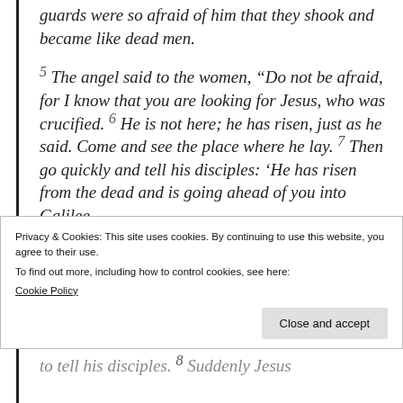guards were so afraid of him that they shook and became like dead men.
5 The angel said to the women, “Do not be afraid, for I know that you are looking for Jesus, who was crucified. 6 He is not here; he has risen, just as he said. Come and see the place where he lay. 7 Then go quickly and tell his disciples: ‘He has risen from the dead and is going ahead of you into Galilee.
Privacy & Cookies: This site uses cookies. By continuing to use this website, you agree to their use. To find out more, including how to control cookies, see here: Cookie Policy
to tell his disciples. 8 Suddenly Jesus